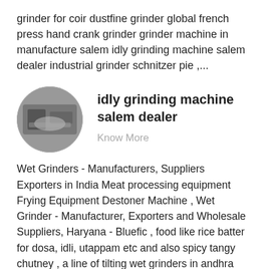grinder for coir dustfine grinder global french press hand crank grinder grinder machine in manufacture salem idly grinding machine salem dealer industrial grinder schnitzer pie ,...
[Figure (photo): Oval/elliptical thumbnail image of industrial grinding equipment, shown in black and white tones]
idly grinding machine salem dealer
Know More
Wet Grinders - Manufacturers, Suppliers Exporters in India Meat processing equipment Frying Equipment Destoner Machine , Wet Grinder - Manufacturer, Exporters and Wholesale Suppliers, Haryana - Bluefic , food like rice batter for dosa, idli, utappam etc and also spicy tangy chutney , a line of tilting wet grinders in andhra pradesh karnataka kerala salem, ,...
[Figure (photo): Partial oval/elliptical thumbnail image at bottom, partially cut off]
idly grinding machine